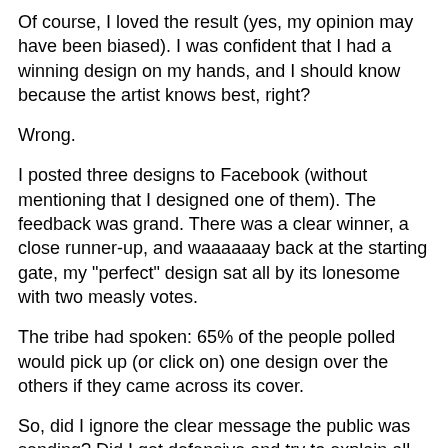Of course, I loved the result (yes, my opinion may have been biased). I was confident that I had a winning design on my hands, and I should know because the artist knows best, right?
Wrong.
I posted three designs to Facebook (without mentioning that I designed one of them). The feedback was grand. There was a clear winner, a close runner-up, and waaaaaay back at the starting gate, my "perfect" design sat all by its lonesome with two measly votes.
The tribe had spoken: 65% of the people polled would pick up (or click on) one design over the others if they came across its cover.
So, did I ignore the clear message the public was sending? Did I get defensive and try to explain all the reasons why people should have chosen MY awesome design? Did I shake my fist at the heavens and berate all those ignorant fools who "just didn't get my work"?